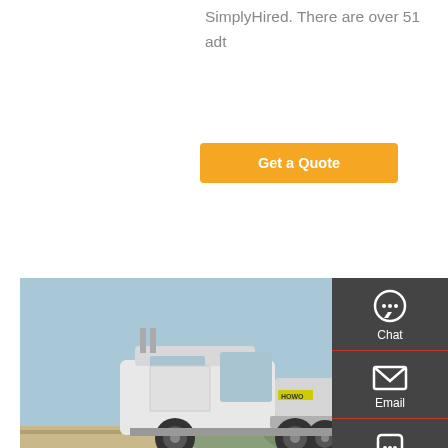SimplyHired. There are over 51 adt
[Figure (other): Orange 'Get a Quote' button]
[Figure (photo): White HOWO semi-truck / tractor unit parked outdoors with blue sky and hills in background]
20 Best Dump Truck Driver Jobs (Hiring Now!) | SimplyHired
456 dump truck driver jobs available. See salaries, compare reviews, easily apply, and get hired. New dump truck driver careers are added daily on SimplyHired.com. The low-stress way to find your next dump truck
[Figure (other): Dark sidebar with Chat, Email, Contact, and Top navigation icons]